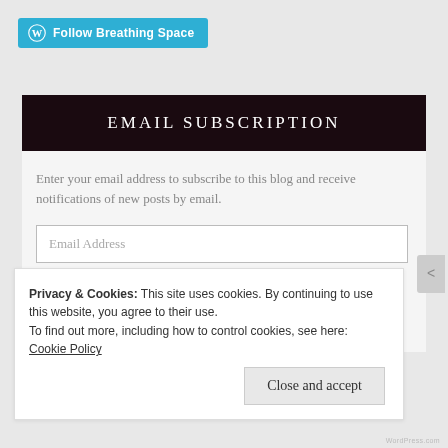[Figure (logo): WordPress Follow Breathing Space button with WordPress logo icon on teal/cyan background]
EMAIL SUBSCRIPTION
Enter your email address to subscribe to this blog and receive notifications of new posts by email.
Email Address
Sign me up!
Join 3,549 other followers
Privacy & Cookies: This site uses cookies. By continuing to use this website, you agree to their use.
To find out more, including how to control cookies, see here: Cookie Policy
Close and accept